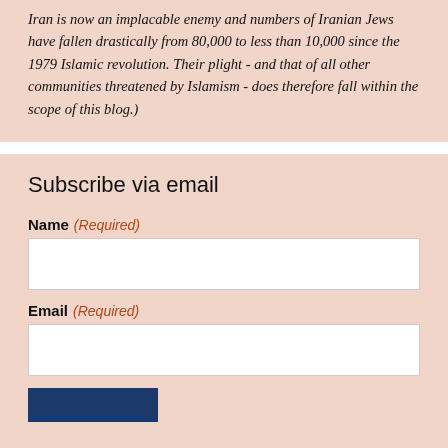Iran is now an implacable enemy and numbers of Iranian Jews have fallen drastically from 80,000 to less than 10,000 since the 1979 Islamic revolution. Their plight - and that of all other communities threatened by Islamism - does therefore fall within the scope of this blog.)
Subscribe via email
Name (Required)
Email (Required)